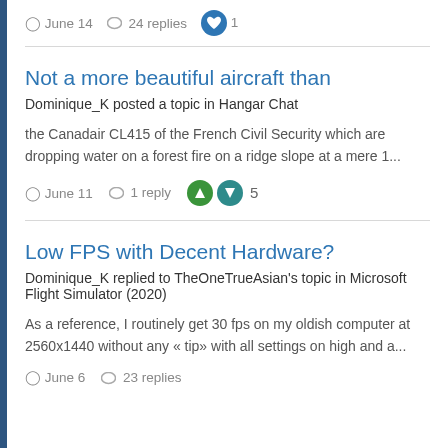June 14  24 replies  1
Not a more beautiful aircraft than
Dominique_K posted a topic in Hangar Chat
the Canadair CL415 of the French Civil Security which are dropping water on a forest fire on a ridge slope at a mere 1...
June 11  1 reply  5
Low FPS with Decent Hardware?
Dominique_K replied to TheOneTrueAsian's topic in Microsoft Flight Simulator (2020)
As a reference, I routinely get 30 fps on my oldish computer at 2560x1440 without any « tip» with all settings on high and a...
June 6  23 replies